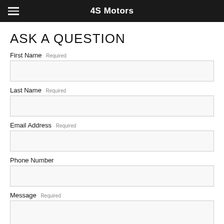4S Motors
ASK A QUESTION
First Name Required
Last Name Required
Email Address Required
Phone Number
Message Required